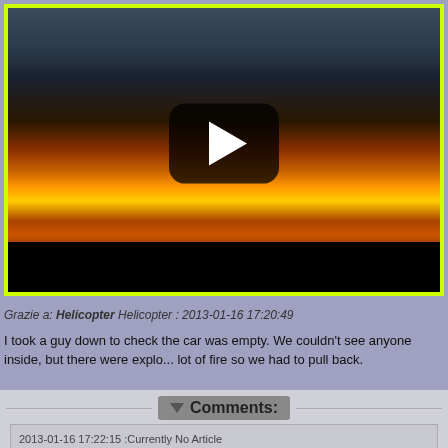[Figure (screenshot): Video thumbnail showing fire/explosion scene with YouTube-style play button overlay, yellow-green border frame, black bottom bar]
Grazie a: Helicopter Helicopter : 2013-01-16 17:20:49
I took a guy down to check the car was empty. We couldn't see anyone inside, but there were explo... lot of fire so we had to pull back.
Comments:
2013-01-16 17:22:15 :Currently No Article
http://www.cyrus-srl.it/?banda=stagnata
write your comment...
Url: